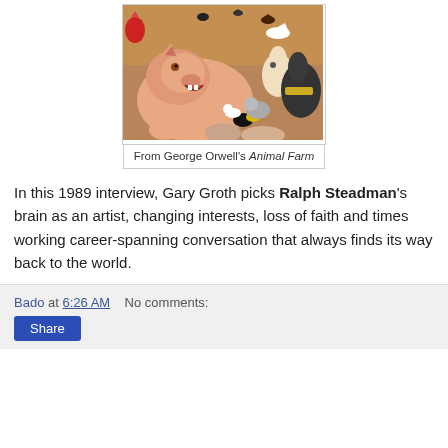[Figure (illustration): Illustration from George Orwell's Animal Farm showing a pig with open mouth surrounded by various farm animals including horses, ducks, and chickens in a barn setting]
From George Orwell's Animal Farm
In this 1989 interview, Gary Groth picks Ralph Steadman's brain as an artist, changing interests, loss of faith and times working career-spanning conversation that always finds its way back to the world.
Bado at 6:26 AM   No comments: